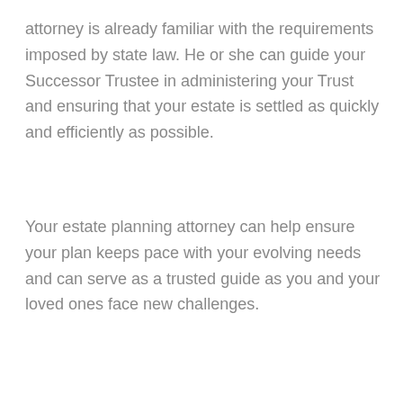attorney is already familiar with the requirements imposed by state law. He or she can guide your Successor Trustee in administering your Trust and ensuring that your estate is settled as quickly and efficiently as possible.
Your estate planning attorney can help ensure your plan keeps pace with your evolving needs and can serve as a trusted guide as you and your loved ones face new challenges.